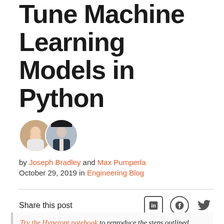Tune Machine Learning Models in Python
[Figure (photo): Two circular author profile photos side by side, partially overlapping]
by Joseph Bradley and Max Pumperla
October 29, 2019 in Engineering Blog
Share this post
[Figure (other): LinkedIn, Facebook, and Twitter social share icons]
Try the Hyperopt notebook to reproduce the steps outlined below and watch our on-demand webinar to